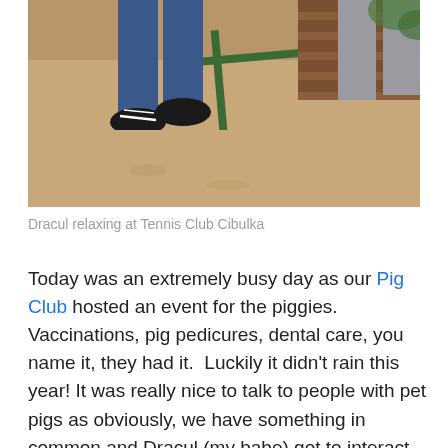[Figure (photo): Photo of Dracul (a pig) relaxing at Tennis Club Cibulka, showing legs of people seated on a bench in an outdoor setting]
Dracul relaxing at Tennis Club Cibulka
Today was an extremely busy day as our Pig Club hosted an event for the piggies. Vaccinations, pig pedicures, dental care, you name it, they had it.  Luckily it didn't rain this year! It was really nice to talk to people with pet pigs as obviously, we have something in common and Dracul (my babe) got to interact with other piggies. As these happenings can get a bit messy (well, they are pigs and they do like to root in the ground) I wore a very casual and sporty outfit. It's as sporty as I go, actually. I wore one of my oldest pairs of shoes, Adidas superstar trainers, a pair